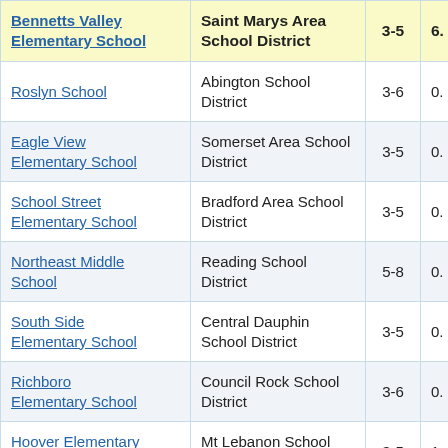| School | District | Grades | 6. |
| --- | --- | --- | --- |
| Bennetts Valley Elementary School | Saint Marys Area School District | 3-5 | 6. |
| Roslyn School | Abington School District | 3-6 | 0. |
| Eagle View Elementary School | Somerset Area School District | 3-5 | 0. |
| School Street Elementary School | Bradford Area School District | 3-5 | 0. |
| Northeast Middle School | Reading School District | 5-8 | 0. |
| South Side Elementary School | Central Dauphin School District | 3-5 | 0. |
| Richboro Elementary School | Council Rock School District | 3-6 | 0. |
| Hoover Elementary School | Mt Lebanon School District | 3-5 | 1. |
| Highlands Middle School | Highlands School District | 5-8 | 0. |